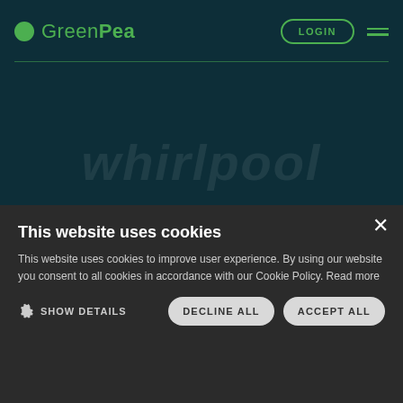[Figure (screenshot): GreenPea website header with dark teal background, logo, LOGIN button, and hamburger menu]
This website uses cookies
This website uses cookies to improve user experience. By using our website you consent to all cookies in accordance with our Cookie Policy. Read more